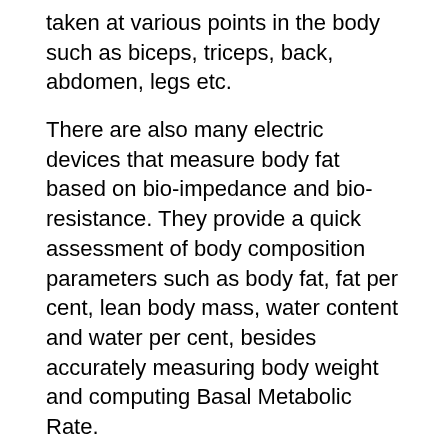taken at various points in the body such as biceps, triceps, back, abdomen, legs etc.
There are also many electric devices that measure body fat based on bio-impedance and bio-resistance. They provide a quick assessment of body composition parameters such as body fat, fat per cent, lean body mass, water content and water per cent, besides accurately measuring body weight and computing Basal Metabolic Rate. On an average, a normal adult male has twelve per cent of body weight as fat, and a normal adult female has twenty six per cent of body weight as fat. Accordingly, obesity occurs when the percentage of body weight as fat, in total body weight, is